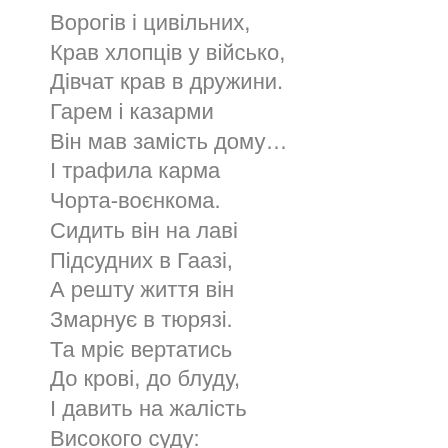Ворогів і цивільних,
Крав хлопців у військо,
Дівчат крав в дружини.
Гарем і казарми
Він мав замість дому…
І трафила карма
Чорта-воєнкома.
Сидить він на лаві
Підсудних в Гаазі,
А решту життя він
Змарнує в тюрязі.
Та мріє вертатись
До крові, до блуду,
І давить на жалість
Високого суду:
– Помилуйте, судді!
Скажу вам, що сталось!
Молю вас, почуйте: